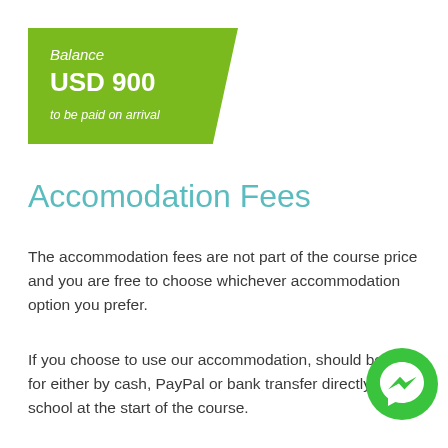[Figure (infographic): Green pentagon-shaped banner showing Balance USD 900 to be paid on arrival]
Accomodation Fees
The accommodation fees are not part of the course price and you are free to choose whichever accommodation option you prefer.
If you choose to use our accommodation, should be paid for either by cash, PayPal or bank transfer directly to the school at the start of the course.
[Figure (logo): Facebook Messenger circular green icon]